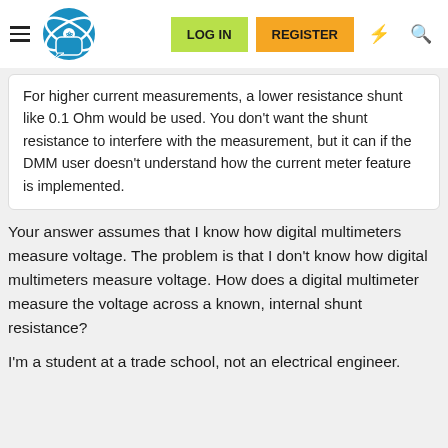LOG IN  REGISTER
For higher current measurements, a lower resistance shunt like 0.1 Ohm would be used. You don't want the shunt resistance to interfere with the measurement, but it can if the DMM user doesn't understand how the current meter feature is implemented.
Your answer assumes that I know how digital multimeters measure voltage. The problem is that I don't know how digital multimeters measure voltage. How does a digital multimeter measure the voltage across a known, internal shunt resistance?
I'm a student at a trade school, not an electrical engineer.